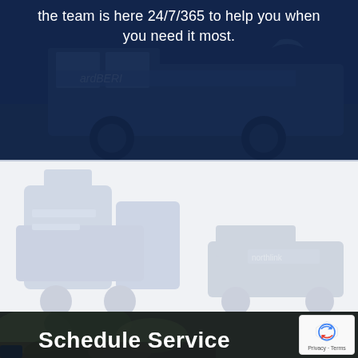[Figure (photo): Dark blue overlay section with a service/utility van in the background, partially visible. Text overlay on top portion.]
the team is here 24/7/365 to help you when you need it most.
[Figure (photo): Light/white section with faded watermark-style images of service equipment and vehicles on both left and right sides.]
[Figure (photo): Aerial view of a neighborhood with trees and a vehicle visible. Dark overlay. Contains 'Schedule Service' text and a reCAPTCHA badge in bottom-right corner.]
Schedule Service